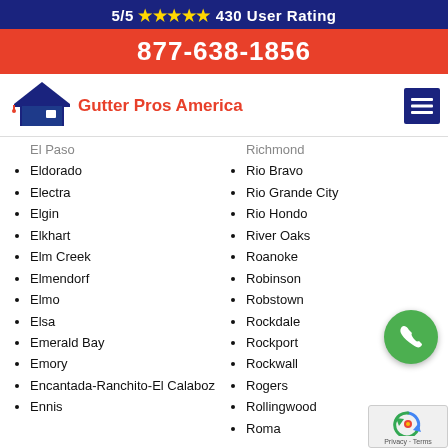5/5 ★★★★★ 430 User Rating
877-638-1856
[Figure (logo): Gutter Pros America logo with house icon and red accent]
El Paso (truncated/partial)
Eldorado
Electra
Elgin
Elkhart
Elm Creek
Elmendorf
Elmo
Elsa
Emerald Bay
Emory
Encantada-Ranchito-El Calaboz
Ennis
Richmond (truncated/partial)
Rio Bravo
Rio Grande City
Rio Hondo
River Oaks
Roanoke
Robinson
Robstown
Rockdale
Rockport
Rockwall
Rogers
Rollingwood
Roma